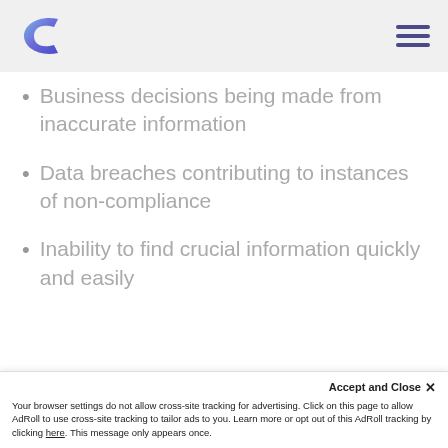[Figure (logo): Company logo - stylized C shape in blue/purple gradient]
[Figure (other): Hamburger menu icon with three horizontal lines in dark purple/indigo]
Business decisions being made from inaccurate information
Data breaches contributing to instances of non-compliance
Inability to find crucial information quickly and easily
Businesses that are aware of these issues often
Accept and Close ✕
Your browser settings do not allow cross-site tracking for advertising. Click on this page to allow AdRoll to use cross-site tracking to tailor ads to you. Learn more or opt out of this AdRoll tracking by clicking here. This message only appears once.